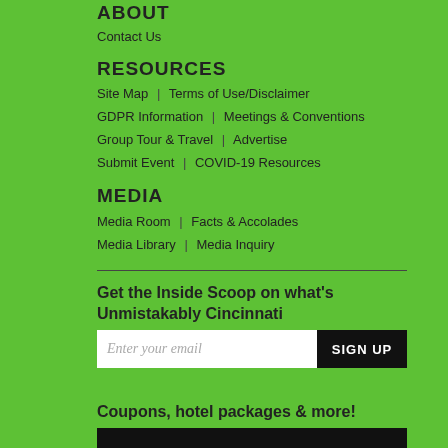ABOUT
Contact Us
RESOURCES
Site Map | Terms of Use/Disclaimer
GDPR Information | Meetings & Conventions
Group Tour & Travel | Advertise
Submit Event | COVID-19 Resources
MEDIA
Media Room | Facts & Accolades
Media Library | Media Inquiry
Get the Inside Scoop on what's Unmistakably Cincinnati
Enter your email  SIGN UP
Coupons, hotel packages & more!